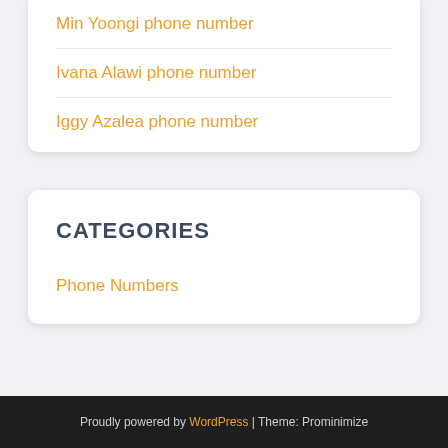Min Yoongi phone number
Ivana Alawi phone number
Iggy Azalea phone number
CATEGORIES
Phone Numbers
Proudly powered by WordPress | Theme: Prominimize